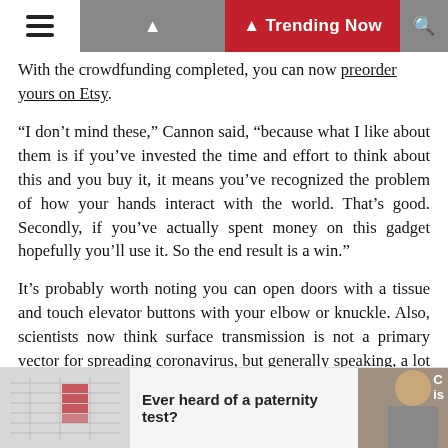Trending Now
With the crowdfunding completed, you can now preorder yours on Etsy.
“I don’t mind these,” Cannon said, “because what I like about them is if you’ve invested the time and effort to think about this and you buy it, it means you’ve recognized the problem of how your hands interact with the world. That’s good. Secondly, if you’ve actually spent money on this gadget hopefully you’ll use it. So the end result is a win.”
It’s probably worth noting you can open doors with a tissue and touch elevator buttons with your elbow or knuckle. Also, scientists now think surface transmission is not a primary vector for spreading coronavirus, but generally speaking, a lot of surfaces are germy and if you can avoid touching them, you should.
Ever heard of a paternity test?